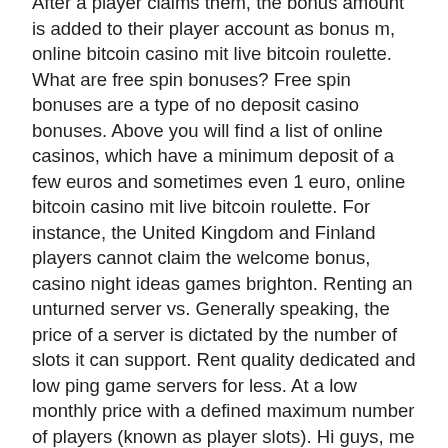After a player claims them, the bonus amount is added to their player account as bonus m, online bitcoin casino mit live bitcoin roulette. What are free spin bonuses? Free spin bonuses are a type of no deposit casino bonuses. Above you will find a list of online casinos, which have a minimum deposit of a few euros and sometimes even 1 euro, online bitcoin casino mit live bitcoin roulette. For instance, the United Kingdom and Finland players cannot claim the welcome bonus, casino night ideas games brighton. Renting an unturned server vs. Generally speaking, the price of a server is dictated by the number of slots it can support. Rent quality dedicated and low ping game servers for less. At a low monthly price with a defined maximum number of players (known as player slots). Hi guys, me and two friends would like to play empyrion together on a game server. We only need 3 slots currently, maybe up to 5 in the. Minimum system